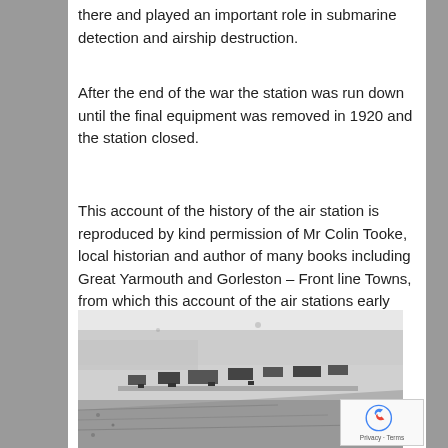there and played an important role in submarine detection and airship destruction.
After the end of the war the station was run down until the final equipment was removed in 1920 and the station closed.
This account of the history of the air station is reproduced by kind permission of Mr Colin Tooke, local historian and author of many books including Great Yarmouth and Gorleston – Front line Towns, from which this account of the air stations early history and the original photo is taken.
[Figure (photo): Black and white aerial photograph showing what appears to be a coastal air station with buildings and structures along a shoreline.]